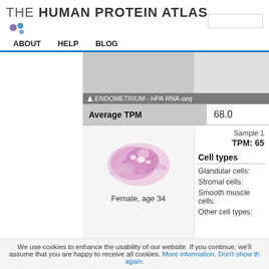THE HUMAN PROTEIN ATLAS
ABOUT   HELP   BLOG
ENDOMETRIUM - HPA RNA-seq
| Average TPM | 68.0 |
| --- | --- |
[Figure (photo): Histology image of endometrium tissue, Female, age 34]
Female, age 34
Sample 1
TPM: 65
Cell types
Glandular cells:
Stromal cells:
Smooth muscle cells:
Other cell types:
Sample 2
We use cookies to enhance the usability of our website. If you continue, we'll assume that you are happy to receive all cookies. More information. Don't show this again.